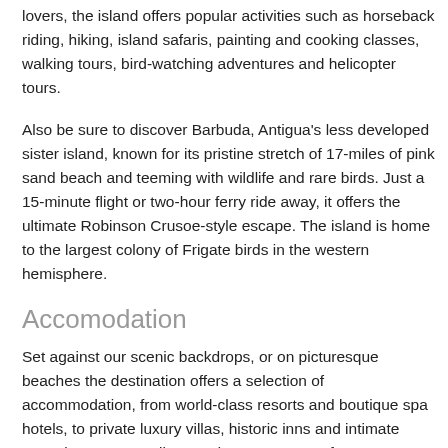lovers, the island offers popular activities such as horseback riding, hiking, island safaris, painting and cooking classes, walking tours, bird-watching adventures and helicopter tours.
Also be sure to discover Barbuda, Antigua's less developed sister island, known for its pristine stretch of 17-miles of pink sand beach and teeming with wildlife and rare birds. Just a 15-minute flight or two-hour ferry ride away, it offers the ultimate Robinson Crusoe-style escape. The island is home to the largest colony of Frigate birds in the western hemisphere.
Accomodation
Set against our scenic backdrops, or on picturesque beaches the destination offers a selection of accommodation, from world-class resorts and boutique spa hotels, to private luxury villas, historic inns and intimate guest houses as well as modern apartments for